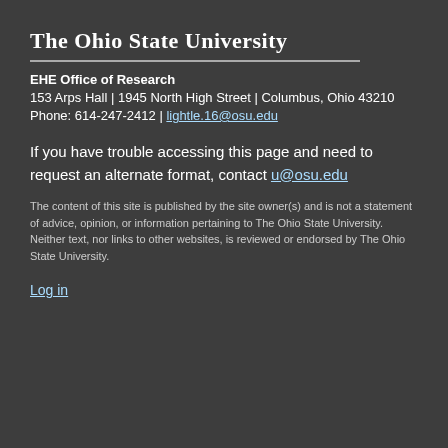The Ohio State University
EHE Office of Research
153 Arps Hall | 1945 North High Street | Columbus, Ohio 43210
Phone: 614-247-2412 | lightle.16@osu.edu
If you have trouble accessing this page and need to request an alternate format, contact u@osu.edu
The content of this site is published by the site owner(s) and is not a statement of advice, opinion, or information pertaining to The Ohio State University. Neither text, nor links to other websites, is reviewed or endorsed by The Ohio State University.
Log in